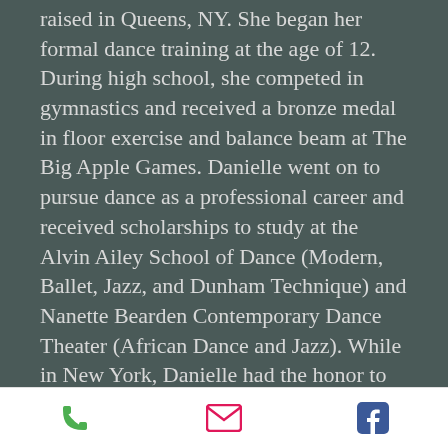raised in Queens, NY. She began her formal dance training at the age of 12. During high school, she competed in gymnastics and received a bronze medal in floor exercise and balance beam at The Big Apple Games. Danielle went on to pursue dance as a professional career and received scholarships to study at the Alvin Ailey School of Dance (Modern, Ballet, Jazz, and Dunham Technique) and Nanette Bearden Contemporary Dance Theater (African Dance and Jazz). While in New York, Danielle had the honor to train for two years under Jazz dance master Luigi. Danielle received a scholarship to
[Figure (other): Mobile app footer bar with three icons: phone (green), email (pink/red), and Facebook (blue)]